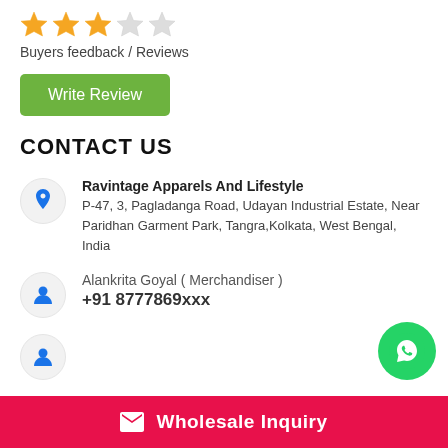[Figure (other): 3 filled gold stars and 2 empty grey stars rating widget]
Buyers feedback / Reviews
Write Review
CONTACT US
Ravintage Apparels And Lifestyle
P-47, 3, Pagladanga Road, Udayan Industrial Estate, Near Paridhan Garment Park, Tangra,Kolkata, West Bengal, India
Alankrita Goyal ( Merchandiser )
+91 8777869xxx
[Figure (logo): WhatsApp floating button green circle]
Wholesale Inquiry